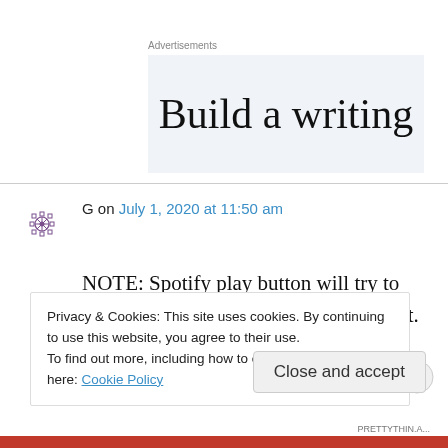Advertisements
[Figure (other): Advertisement banner with text 'Build a writing' on light blue-grey background]
G on July 1, 2020 at 11:50 am
NOTE: Spotify play button will try to shuffle songs so make sure to undo that.
Privacy & Cookies: This site uses cookies. By continuing to use this website, you agree to their use.
To find out more, including how to control cookies, see here: Cookie Policy
Close and accept